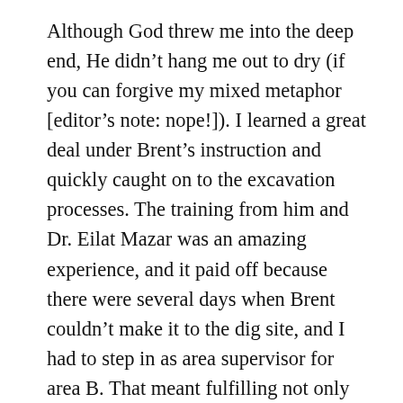Although God threw me into the deep end, He didn't hang me out to dry (if you can forgive my mixed metaphor [editor's note: nope!]). I learned a great deal under Brent's instruction and quickly caught on to the excavation processes. The training from him and Dr. Eilat Mazar was an amazing experience, and it paid off because there were several days when Brent couldn't make it to the dig site, and I had to step in as area supervisor for area B. That meant fulfilling not only Brent's role, but also my own as assistant—a daunting task, but one that had to be fulfilled. The dig had to go on,